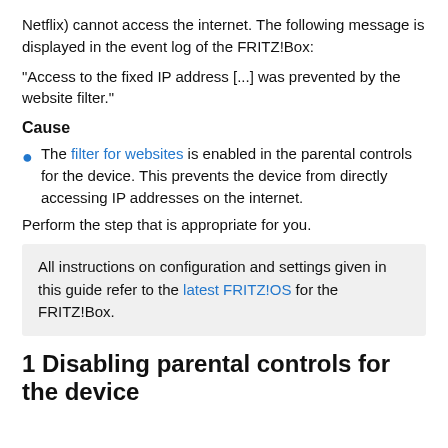Netflix) cannot access the internet. The following message is displayed in the event log of the FRITZ!Box:
"Access to the fixed IP address [...] was prevented by the website filter."
Cause
The filter for websites is enabled in the parental controls for the device. This prevents the device from directly accessing IP addresses on the internet.
Perform the step that is appropriate for you.
All instructions on configuration and settings given in this guide refer to the latest FRITZ!OS for the FRITZ!Box.
1 Disabling parental controls for the device